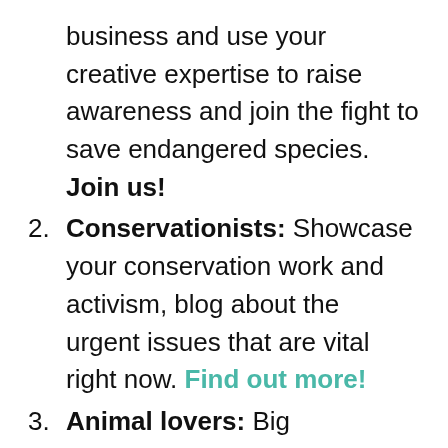business and use your creative expertise to raise awareness and join the fight to save endangered species. Join us!
Conservationists: Showcase your conservation work and activism, blog about the urgent issues that are vital right now. Find out more!
Animal lovers: Big supermarket brands are directly contributing to this species' extinction by destroying forests. You can join the